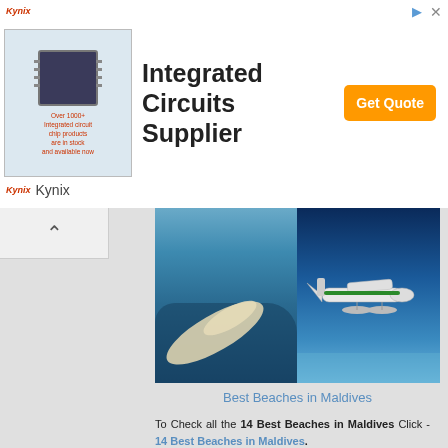[Figure (screenshot): Kynix advertisement banner for Integrated Circuits Supplier with Get Quote button]
[Figure (photo): Two side-by-side photos: left shows aerial view of Maldives island/sandbar, right shows a seaplane over water]
Best Beaches in Maldives
To Check all the 14 Best Beaches in Maldives Click - 14 Best Beaches in Maldives.
7. Maps of Maldives - Here is the Political Map of Maldives. Click Image to make it large or Right Click and Save to Download.
[Figure (map): Political Map of Maldives showing atolls including Haa Alifu Atoll with island labels]